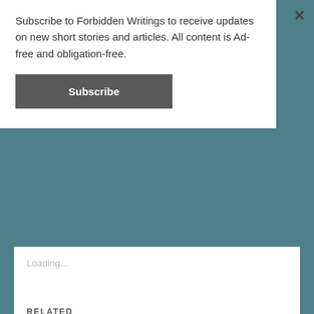Subscribe to Forbidden Writings to receive updates on new short stories and articles. All content is Ad-free and obligation-free.
Subscribe
Loading...
RELATED
[Figure (photo): Woman wearing an ornate lace masquerade mask, moody blue-tinted photo]
On Swingers: 3 Benefits of Swinging
[Figure (photo): Black and white close-up portrait of a young woman resting her chin on her hands]
The World of Littles
August 24, 2017